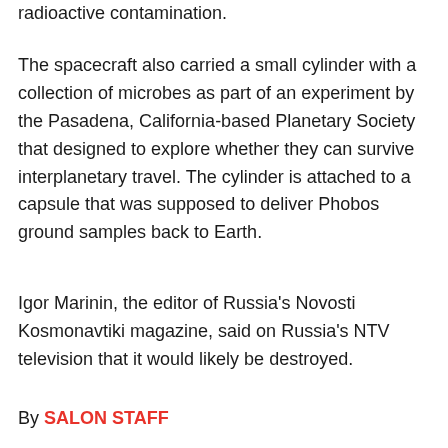radioactive contamination.
The spacecraft also carried a small cylinder with a collection of microbes as part of an experiment by the Pasadena, California-based Planetary Society that designed to explore whether they can survive interplanetary travel. The cylinder is attached to a capsule that was supposed to deliver Phobos ground samples back to Earth.
Igor Marinin, the editor of Russia's Novosti Kosmonavtiki magazine, said on Russia's NTV television that it would likely be destroyed.
By SALON STAFF